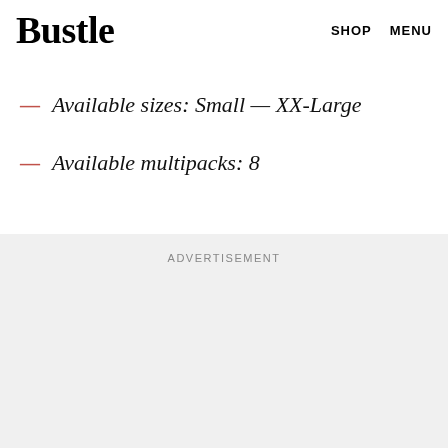Bustle  SHOP  MENU
vibrant leonard prints. At such a wallet-friendly ... nities are hard to pass up.
Available sizes: Small — XX-Large
Available multipacks: 8
ADVERTISEMENT